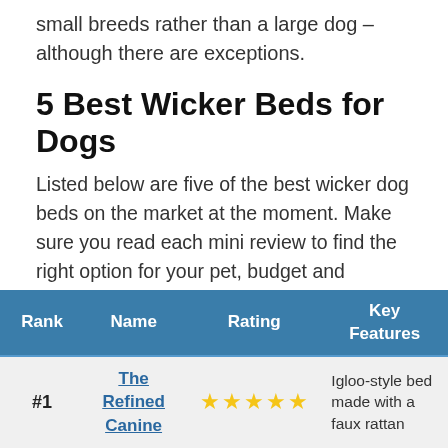small breeds rather than a large dog – although there are exceptions.
5 Best Wicker Beds for Dogs
Listed below are five of the best wicker dog beds on the market at the moment. Make sure you read each mini review to find the right option for your pet, budget and requirements.
| Rank | Name | Rating | Key Features |
| --- | --- | --- | --- |
| #1 | The Refined Canine | ★★★★★ | Igloo-style bed made with a faux rattan |